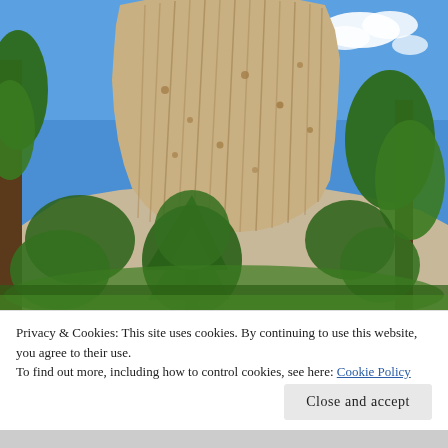[Figure (photo): Looking-up photo of Devils Tower (a large columnar basalt butte) rising above pine trees against a bright blue sky with a few white clouds. The rock formation shows dramatic vertical striations. Pine trees frame the left, center-bottom, and right sides of the image.]
Privacy & Cookies: This site uses cookies. By continuing to use this website, you agree to their use.
To find out more, including how to control cookies, see here: Cookie Policy
Close and accept